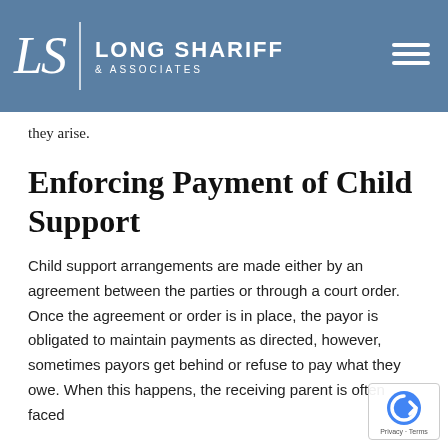LONG SHARIFF & ASSOCIATES
they arise.
Enforcing Payment of Child Support
Child support arrangements are made either by an agreement between the parties or through a court order. Once the agreement or order is in place, the payor is obligated to maintain payments as directed, however, sometimes payors get behind or refuse to pay what they owe. When this happens, the receiving parent is often faced with a financial situation where they are...